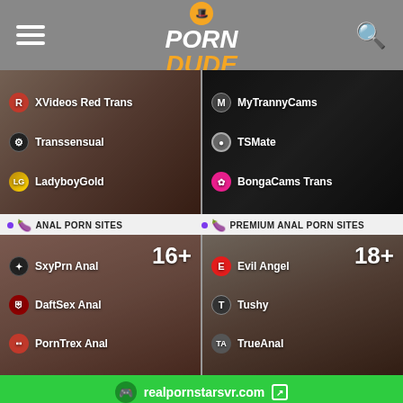The Porn Dude
[Figure (screenshot): Left card: trans porn sites listing with XVideos Red Trans, Transsensual, LadyboyGold]
[Figure (screenshot): Right card: trans porn sites listing with MyTrannyCams, TSMate, BongaCams Trans]
ANAL PORN SITES
PREMIUM ANAL PORN SITES
[Figure (screenshot): Left card: anal porn sites 16+, SxyPrn Anal, DaftSex Anal, PornTrex Anal]
[Figure (screenshot): Right card: premium anal porn sites 18+, Evil Angel, Tushy, TrueAnal]
realpornstarsvr.com
3686+ All Porn Sites
24+ VR Porn Sites